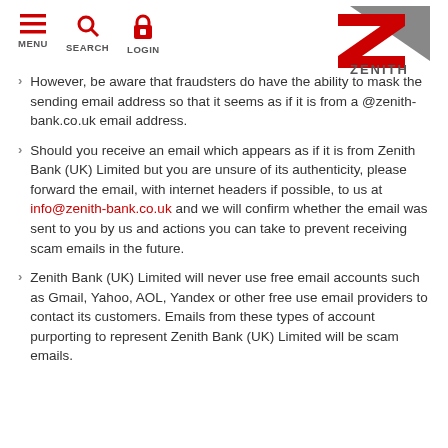MENU  SEARCH  LOGIN — Zenith Bank logo
However, be aware that fraudsters do have the ability to mask the sending email address so that it seems as if it is from a @zenith-bank.co.uk email address.
Should you receive an email which appears as if it is from Zenith Bank (UK) Limited but you are unsure of its authenticity, please forward the email, with internet headers if possible, to us at info@zenith-bank.co.uk and we will confirm whether the email was sent to you by us and actions you can take to prevent receiving scam emails in the future.
Zenith Bank (UK) Limited will never use free email accounts such as Gmail, Yahoo, AOL, Yandex or other free use email providers to contact its customers. Emails from these types of account purporting to represent Zenith Bank (UK) Limited will be scam emails.